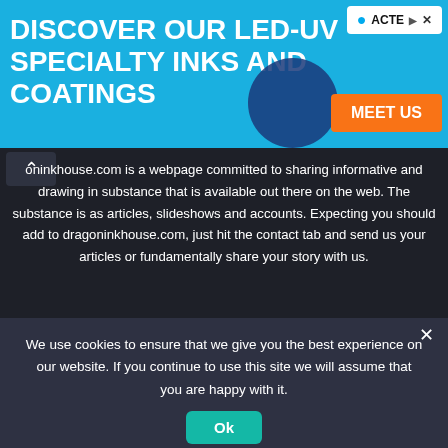[Figure (infographic): Blue banner advertisement for LED-UV specialty inks and coatings featuring ACTEGA brand logo and orange MEET US button]
dragoninkhouse.com is a webpage committed to sharing informative and drawing in substance that is available out there on the web. The substance is as articles, slideshows and accounts. Expecting you should add to dragoninkhouse.com, just hit the contact tab and send us your articles or fundamentally share your story with us.
@2022 - All Right Reserved. Designed and Developed by DRAGONINKHOUSE
About Us   Contact Us   Disclaimer   DMCA   Privacy Policy
We use cookies to ensure that we give you the best experience on our website. If you continue to use this site we will assume that you are happy with it.